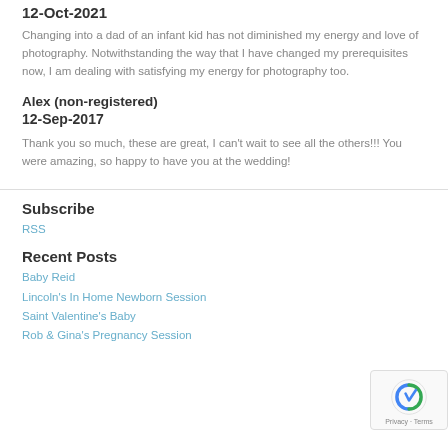12-Oct-2021
Changing into a dad of an infant kid has not diminished my energy and love of photography. Notwithstanding the way that I have changed my prerequisites now, I am dealing with satisfying my energy for photography too.
Alex (non-registered)
12-Sep-2017
Thank you so much, these are great, I can't wait to see all the others!!! You were amazing, so happy to have you at the wedding!
Subscribe
RSS
Recent Posts
Baby Reid
Lincoln's In Home Newborn Session
Saint Valentine's Baby
Rob & Gina's Pregnancy Session